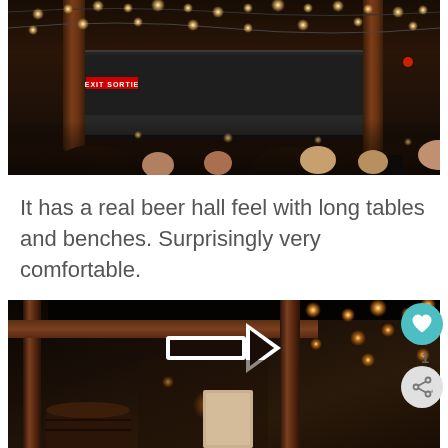[Figure (photo): Interior of a bar or beer hall. Dark ambiance with warm string lights hanging from ceiling, wooden pillars, a dark back wall with EXIT SORTIE sign in red, and a crowd of people visible at the bottom of the frame.]
It has a real beer hall feel with long tables and benches. Surprisingly very comfortable.
[Figure (photo): Interior of a beer hall or brewery showing wooden beams, warm string lights, a large white illuminated arrow sign pointing right, and barrels along the bottom. Like and share buttons overlaid on the right side.]